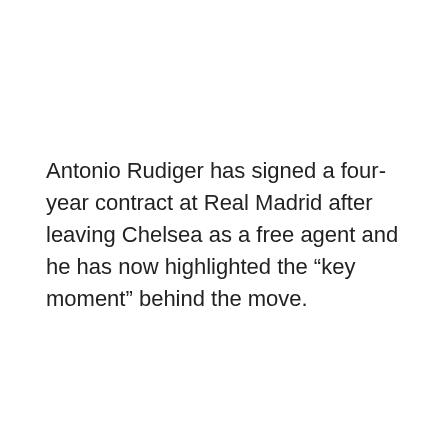Antonio Rudiger has signed a four-year contract at Real Madrid after leaving Chelsea as a free agent and he has now highlighted the “key moment” behind the move.